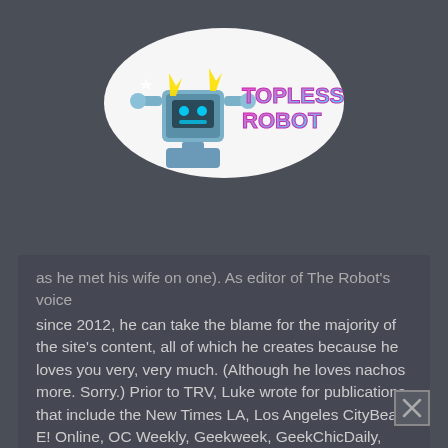[Figure (logo): Topless Robot logo — cartoon robot character with lightning bolts, colorful retro-styled text reading 'TOPLESS ROBOT' in pink/cyan gradient on dark background]
as he met his wife on one). As editor of The Robot's voice since 2012, he can take the blame for the majority of the site's content, all of which he creates because he loves you very, very much. (Although he loves nachos more. Sorry.) Prior to TRV, Luke wrote for publications that include the New Times LA, Los Angeles CityBeat, E! Online, OC Weekly, Geekweek, GeekChicDaily, The L.A. Times, The Village Voice, LA Weekly, and Nerdist